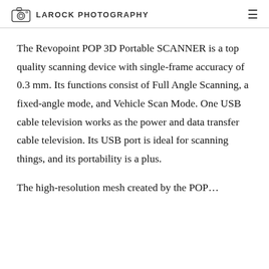LAROCK PHOTOGRAPHY
The Revopoint POP 3D Portable SCANNER is a top quality scanning device with single-frame accuracy of 0.3 mm. Its functions consist of Full Angle Scanning, a fixed-angle mode, and Vehicle Scan Mode. One USB cable television works as the power and data transfer cable television. Its USB port is ideal for scanning things, and its portability is a plus.
The high-resolution mesh created by the POP...